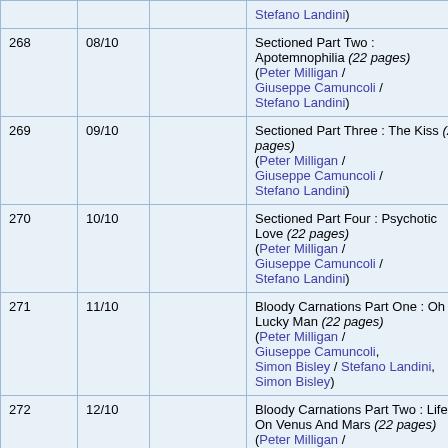| # | Date |  | Story |  |
| --- | --- | --- | --- | --- |
|  |  |  | Stefano Landini) |  |
| 268 | 08/10 |  | Sectioned Part Two : Apotemnophilia (22 pages)
(Peter Milligan / Giuseppe Camuncoli / Stefano Landini) |  |
| 269 | 09/10 |  | Sectioned Part Three : The Kiss (22 pages)
(Peter Milligan / Giuseppe Camuncoli / Stefano Landini) |  |
| 270 | 10/10 |  | Sectioned Part Four : Psychotic Love (22 pages)
(Peter Milligan / Giuseppe Camuncoli / Stefano Landini) |  |
| 271 | 11/10 |  | Bloody Carnations Part One : Oh Lucky Man (22 pages)
(Peter Milligan / Giuseppe Camuncoli, Simon Bisley / Stefano Landini, Simon Bisley) |  |
| 272 | 12/10 |  | Bloody Carnations Part Two : Life On Venus And Mars (22 pages)
(Peter Milligan / Giuseppe Camuncoli) |  |